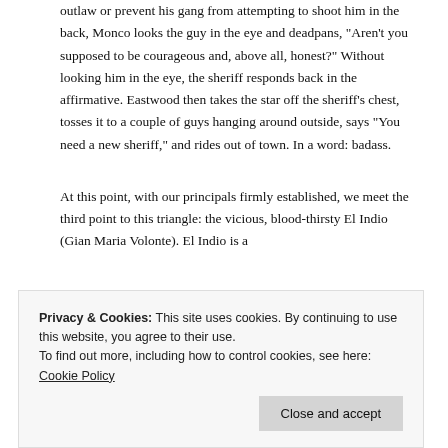outlaw or prevent his gang from attempting to shoot him in the back, Monco looks the guy in the eye and deadpans, "Aren't you supposed to be courageous and, above all, honest?" Without looking him in the eye, the sheriff responds back in the affirmative. Eastwood then takes the star off the sheriff's chest, tosses it to a couple of guys hanging around outside, says "You need a new sheriff," and rides out of town. In a word: badass.
At this point, with our principals firmly established, we meet the third point to this triangle: the vicious, blood-thirsty El Indio (Gian Maria Volonte). El Indio is a
Privacy & Cookies: This site uses cookies. By continuing to use this website, you agree to their use.
To find out more, including how to control cookies, see here: Cookie Policy
Close and accept
revelation in the final act. Indio is a complex man,